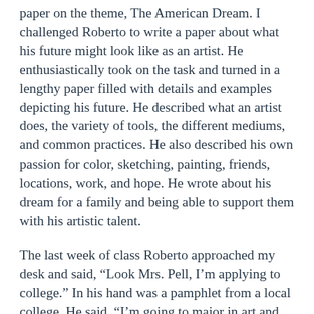paper on the theme, The American Dream. I challenged Roberto to write a paper about what his future might look like as an artist. He enthusiastically took on the task and turned in a lengthy paper filled with details and examples depicting his future. He described what an artist does, the variety of tools, the different mediums, and common practices. He also described his own passion for color, sketching, painting, friends, locations, work, and hope. He wrote about his dream for a family and being able to support them with his artistic talent.
The last week of class Roberto approached my desk and said, “Look Mrs. Pell, I’m applying to college.” In his hand was a pamphlet from a local college. He said, “I’m going to major in art and be the first in my family to go to college.” I smiled, feeling proud of how much he had grown in such a short time.
Not all endings to the school year are as positive as Roberto’s. I remember one student I taught named Devonte. Although